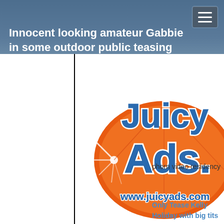Innocent looking amateur Gabbie in some outdoor public teasing action
[Figure (logo): JuicyAds logo with orange circular background and blue stylized text reading 'Juicy Ads' with www.juicyads.com URL below]
phorn video residency
Only Tease Kelly  Holiday with big tits